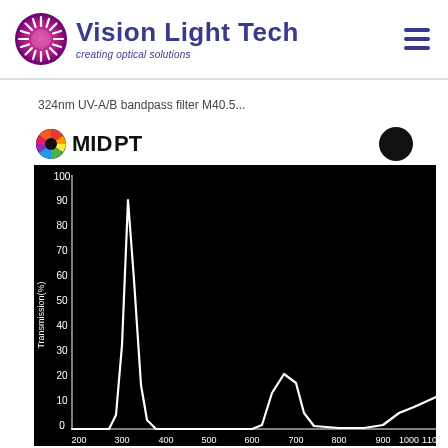[Figure (logo): Vision Light Tech logo with pink/purple sunburst icon and company name in dark blue, tagline 'creating optical solutions']
324nm UV-A/B bandpass filter M40.5...
[Figure (logo): MidOpt logo with colorful circular icon and black text 'MIDOPT', plus a black circle on the right]
[Figure (continuous-plot): Transmission spectrum chart on black background. Y-axis: Transmission(%) 0-100. X-axis: wavelength 200-1100nm. Main peak around 324nm reaching ~90% transmission, secondary peak around 700nm at ~22%, and a rising curve from ~1000nm reaching ~12% at 1100nm.]